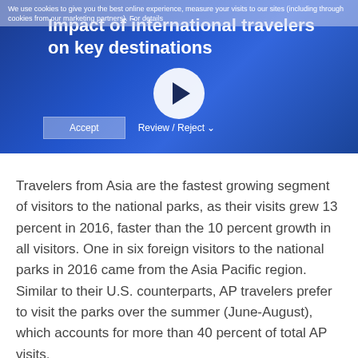[Figure (screenshot): Video thumbnail with blue gradient background showing title 'Impact of international travelers on key destinations', a play button, a cookie consent banner overlay with Accept and Review/Reject buttons.]
Travelers from Asia are the fastest growing segment of visitors to the national parks, as their visits grew 13 percent in 2016, faster than the 10 percent growth in all visitors. One in six foreign visitors to the national parks in 2016 came from the Asia Pacific region. Similar to their U.S. counterparts, AP travelers prefer to visit the parks over the summer (June-August), which accounts for more than 40 percent of total AP visits.